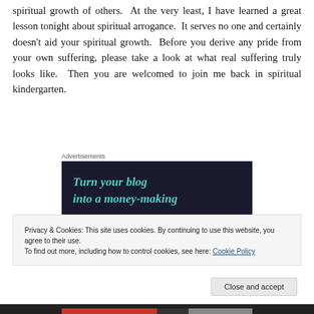spiritual growth of others.  At the very least, I have learned a great lesson tonight about spiritual arrogance.  It serves no one and certainly doesn't aid your spiritual growth.  Before you derive any pride from your own suffering, please take a look at what real suffering truly looks like.  Then you are welcomed to join me back in spiritual kindergarten.
[Figure (screenshot): Advertisement banner with dark background showing text 'Turn your blog into a money-making' in teal italic font]
Privacy & Cookies: This site uses cookies. By continuing to use this website, you agree to their use.
To find out more, including how to control cookies, see here: Cookie Policy
Close and accept